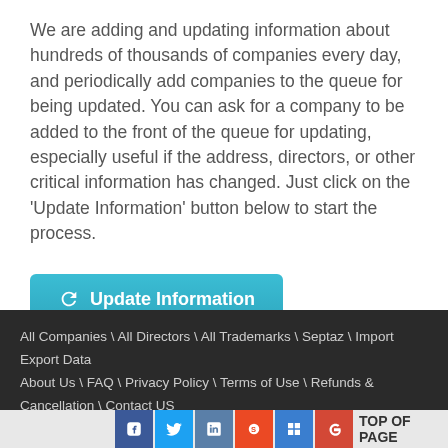We are adding and updating information about hundreds of thousands of companies every day, and periodically add companies to the queue for being updated. You can ask for a company to be added to the front of the queue for updating, especially useful if the address, directors, or other critical information has changed. Just click on the 'Update Information' button below to start the process.
[Figure (other): Teal 'Update Information' button with refresh/cycle icon on the left]
All Companies \ All Directors \ All Trademarks \ Septaz \ Import Export Data
About Us \ FAQ \ Privacy Policy \ Terms of Use \ Refunds & Cancellation \ Contact US
Social icons: Facebook, Twitter, LinkedIn, StumbleUpon, Delicious, Google+ | TOP OF PAGE